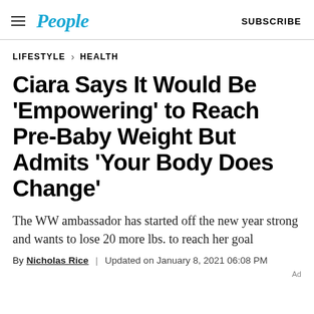People | SUBSCRIBE
LIFESTYLE > HEALTH
Ciara Says It Would Be 'Empowering' to Reach Pre-Baby Weight But Admits 'Your Body Does Change'
The WW ambassador has started off the new year strong and wants to lose 20 more lbs. to reach her goal
By Nicholas Rice | Updated on January 8, 2021 06:08 PM